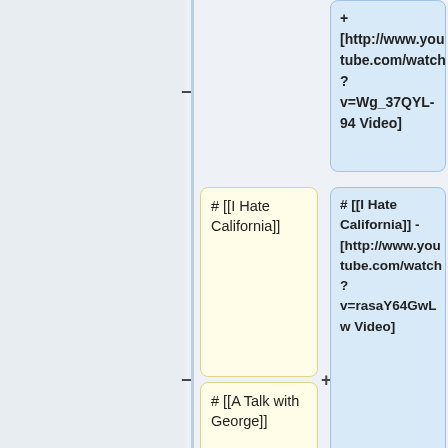[Figure (flowchart): Diff/comparison flowchart showing wiki article titles in yellow boxes on the left and corresponding YouTube video links in blue boxes on the right, connected by a vertical timeline with minus and plus markers. Entries include: [http://www.youtube.com/watch?v=Wg_37QYL-94 Video], # [[I Hate California]] with video link v=rasaY64GwLw, # [[A Talk with George]] with video link v=tf_x-80gJ6Q, # [[Skullcrusher Mountain]] with video link.]